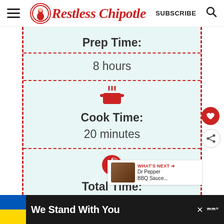Restless Chipotle — SUBSCRIBE
Prep Time:
8 hours
Cook Time:
20 minutes
Total Time:
We Stand With You